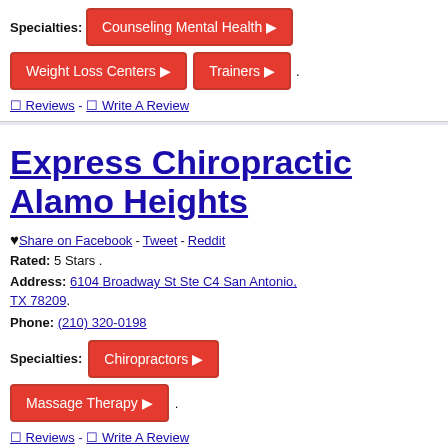Specialties: Counseling Mental Health  Weight Loss Centers  Trainers  .
0 Reviews - 0 Write A Review
Express Chiropractic Alamo Heights
♥ Share on Facebook - Tweet - Reddit
Rated: 5 Stars .
Address: 6104 Broadway St Ste C4 San Antonio, TX 78209.
Phone: (210) 320-0198
Specialties: Chiropractors  Massage Therapy  .
0 Reviews - 0 Write A Review